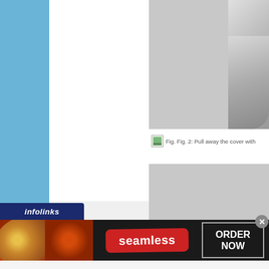[Figure (screenshot): Web page screenshot showing a blue sidebar on the left, a white main content area in the center-left, and gray image placeholder panels on the right side of the page.]
Fig. Fig. 2: Pull away the cover with
[Figure (screenshot): Large gray placeholder image panel in the lower right portion of the page.]
[Figure (infographic): Infolinks advertisement banner showing pizza images, a red 'seamless' button, and an 'ORDER NOW' call-to-action box on a dark background.]